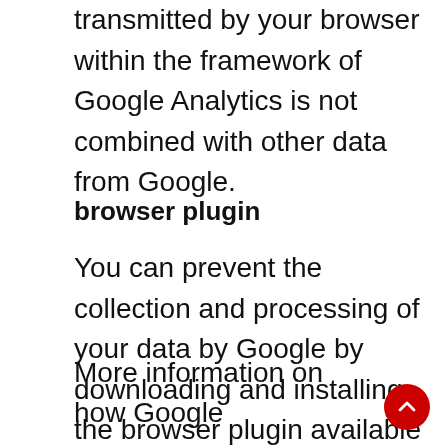transmitted by your browser within the framework of Google Analytics is not combined with other data from Google.
browser plugin
You can prevent the collection and processing of your data by Google by downloading and installing the browser plugin available at the following link: https://tools.google.com/dlpage/gaoptout?hl=de.
More information on how Google